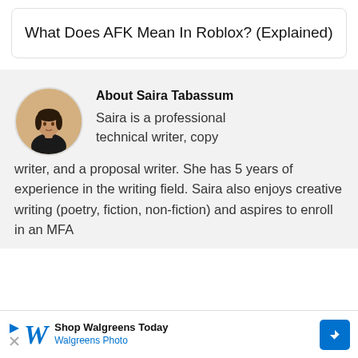What Does AFK Mean In Roblox? (Explained)
About Saira Tabassum
Saira is a professional technical writer, copy writer, and a proposal writer. She has 5 years of experience in the writing field. Saira also enjoys creative writing (poetry, fiction, non-fiction) and aspires to enroll in an MFA
[Figure (photo): Circular profile photo of Saira Tabassum, a woman in a dark outfit seated at a desk]
Shop Walgreens Today Walgreens Photo